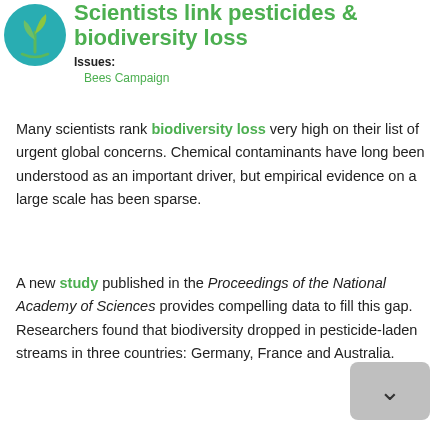[Figure (logo): Circular logo with teal/blue background and green plant/leaf icon]
Scientists link pesticides & biodiversity loss
Issues:
Bees Campaign
Many scientists rank biodiversity loss very high on their list of urgent global concerns. Chemical contaminants have long been understood as an important driver, but empirical evidence on a large scale has been sparse.
A new study published in the Proceedings of the National Academy of Sciences provides compelling data to fill this gap. Researchers found that biodiversity dropped in pesticide-laden streams in three countries: Germany, France and Australia.